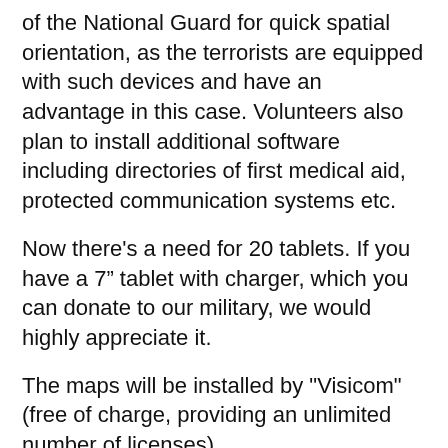of the National Guard for quick spatial orientation, as the terrorists are equipped with such devices and have an advantage in this case. Volunteers also plan to install additional software including directories of first medical aid, protected communication systems etc.
Now there's a need for 20 tablets. If you have a 7" tablet with charger, which you can donate to our military, we would highly appreciate it.
The maps will be installed by "Visicom"  (free of charge, providing an unlimited number of licenses).
Software with emergency aid directories http://www.litsa.com.ua/show/a/15526 as recommended by Borys Clinics.
Software for the Artillery forces: http://programs-art.at.ua/load/programmy_dlja_android/2